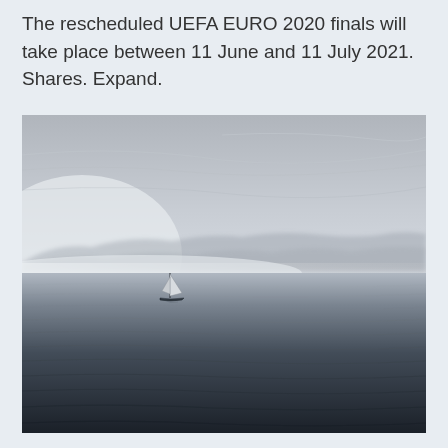The rescheduled UEFA EURO 2020 finals will take place between 11 June and 11 July 2021. Shares. Expand.
[Figure (photo): Black and white photograph of a calm open lake or sea with a single sailboat in the middle distance. Mountains are faintly visible through mist on the horizon. The sky is overcast with subtle cloud streaks. The water is dark and rippled in the foreground, lighter and calmer in the mid-ground.]